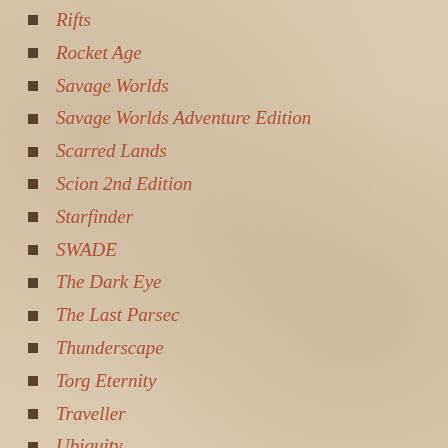Rifts
Rocket Age
Savage Worlds
Savage Worlds Adventure Edition
Scarred Lands
Scion 2nd Edition
Starfinder
SWADE
The Dark Eye
The Last Parsec
Thunderscape
Torg Eternity
Traveller
Ubiquity
Wrath & Glory RPG